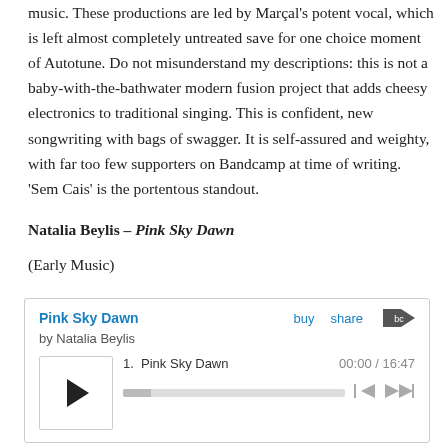music. These productions are led by Marçal's potent vocal, which is left almost completely untreated save for one choice moment of Autotune. Do not misunderstand my descriptions: this is not a baby-with-the-bathwater modern fusion project that adds cheesy electronics to traditional singing. This is confident, new songwriting with bags of swagger. It is self-assured and weighty, with far too few supporters on Bandcamp at time of writing. 'Sem Cais' is the portentous standout.
Natalia Beylis – Pink Sky Dawn
(Early Music)
[Figure (screenshot): Bandcamp embedded music player for 'Pink Sky Dawn' by Natalia Beylis, showing the album title as a blue link, buy and share links, the Bandcamp logo, track listing '1. Pink Sky Dawn' with time 00:00 / 16:47, a play button, and a progress/seek bar with skip controls.]